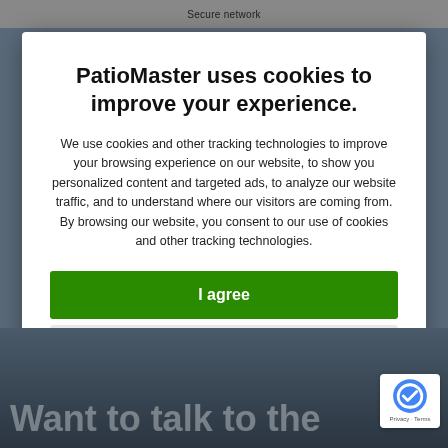Secure network
PatioMaster uses cookies to improve your experience.
We use cookies and other tracking technologies to improve your browsing experience on our website, to show you personalized content and targeted ads, to analyze our website traffic, and to understand where our visitors are coming from. By browsing our website, you consent to our use of cookies and other tracking technologies.
I agree
Change my preferences
Want to talk to the